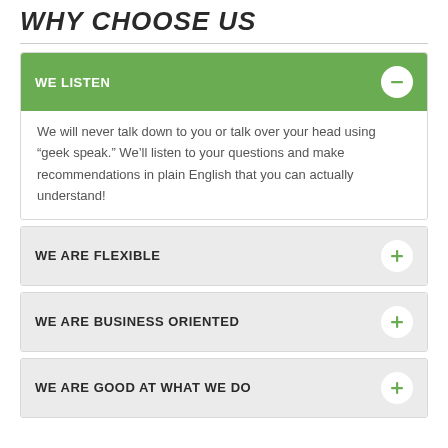WHY CHOOSE US
WE LISTEN
We will never talk down to you or talk over your head using “geek speak.” We’ll listen to your questions and make recommendations in plain English that you can actually understand!
WE ARE FLEXIBLE
WE ARE BUSINESS ORIENTED
WE ARE GOOD AT WHAT WE DO